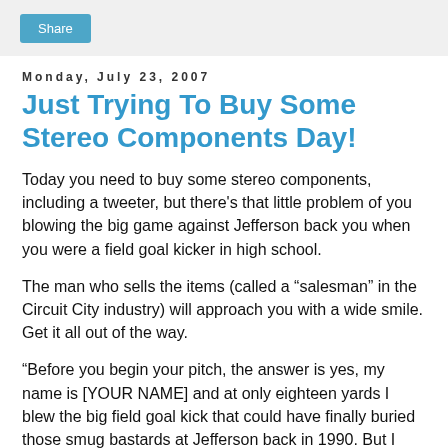Share
Monday, July 23, 2007
Just Trying To Buy Some Stereo Components Day!
Today you need to buy some stereo components, including a tweeter, but there’s that little problem of you blowing the big game against Jefferson back you when you were a field goal kicker in high school.
The man who sells the items (called a “salesman” in the Circuit City industry) will approach you with a wide smile. Get it all out of the way.
“Before you begin your pitch, the answer is yes, my name is [YOUR NAME] and at only eighteen yards I blew the big field goal kick that could have finally buried those smug bastards at Jefferson back in 1990. But I had a lot on my mind. My father had been entered into a psychiatric hospital the night